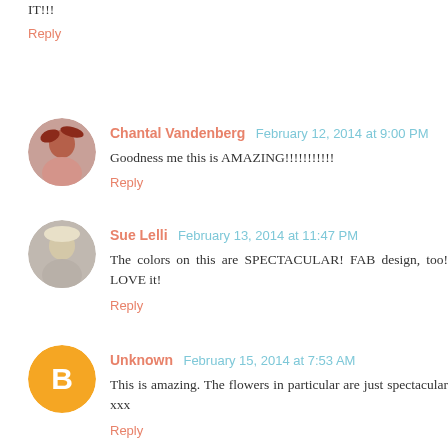IT!!!
Reply
Chantal Vandenberg  February 12, 2014 at 9:00 PM
Goodness me this is AMAZING!!!!!!!!!!!
Reply
Sue Lelli  February 13, 2014 at 11:47 PM
The colors on this are SPECTACULAR! FAB design, too! LOVE it!
Reply
Unknown  February 15, 2014 at 7:53 AM
This is amazing. The flowers in particular are just spectacular xxx
Reply